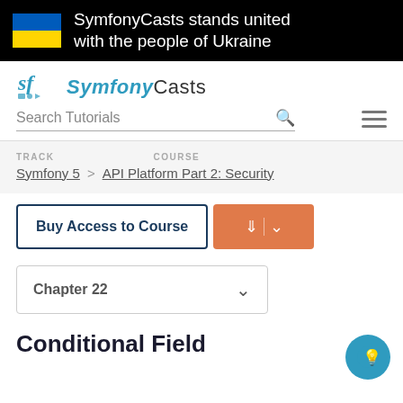[Figure (infographic): Black banner with Ukraine flag and solidarity message: SymfonyCasts stands united with the people of Ukraine]
[Figure (logo): SymfonyCasts logo with sf icon and text]
Search Tutorials
TRACK   Symfony 5   >   COURSE   API Platform Part 2: Security
Buy Access to Course
Chapter 22
Conditional Field